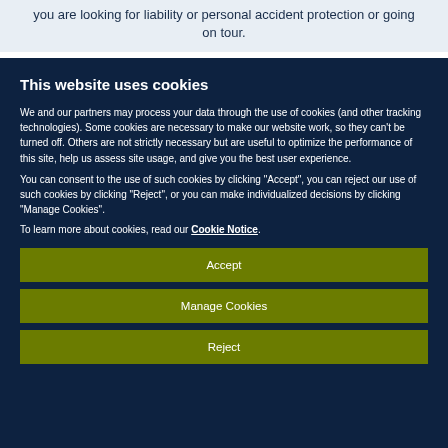you are looking for liability or personal accident protection or going on tour.
This website uses cookies
We and our partners may process your data through the use of cookies (and other tracking technologies). Some cookies are necessary to make our website work, so they can't be turned off. Others are not strictly necessary but are useful to optimize the performance of this site, help us assess site usage, and give you the best user experience.
You can consent to the use of such cookies by clicking "Accept", you can reject our use of such cookies by clicking "Reject", or you can make individualized decisions by clicking "Manage Cookies".
To learn more about cookies, read our Cookie Notice.
Accept
Manage Cookies
Reject